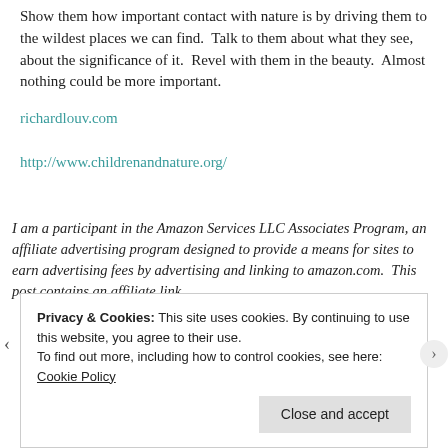Show them how important contact with nature is by driving them to the wildest places we can find.  Talk to them about what they see, about the significance of it.  Revel with them in the beauty.  Almost nothing could be more important.
richardlouv.com
http://www.childrenandnature.org/
I am a participant in the Amazon Services LLC Associates Program, an affiliate advertising program designed to provide a means for sites to earn advertising fees by advertising and linking to amazon.com.  This post contains an affiliate link.
Privacy & Cookies: This site uses cookies. By continuing to use this website, you agree to their use.
To find out more, including how to control cookies, see here: Cookie Policy

Close and accept